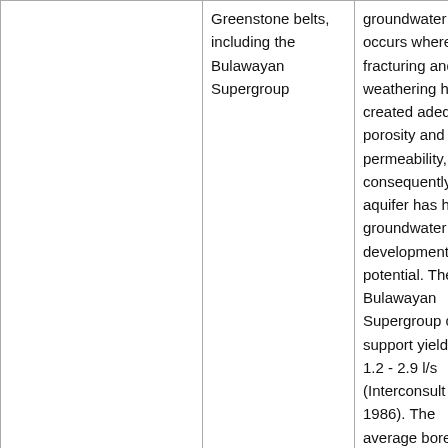|  | Greenstone belts, including the Bulawayan Supergroup | groundwater occurs where fracturing and weathering have created adequate porosity and permeability, and consequently this aquifer has high groundwater development potential. The Bulawayan Supergroup can support yields of 1.2 - 2.9 l/s (Interconsult 1986). The average borehole depth is in the range 30 - 50 m, and the water level is typically from 5 to greater than 20 m below ground level... |